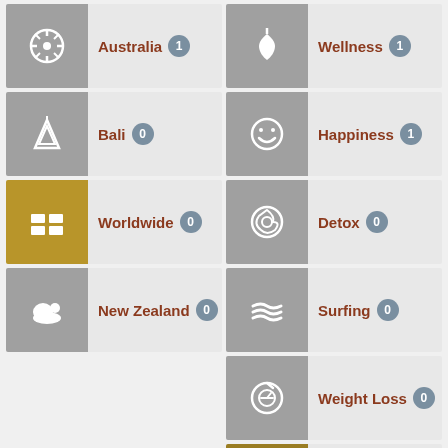Australia 1
Bali 0
Worldwide 0
New Zealand 0
Wellness 1
Happiness 1
Detox 0
Surfing 0
Weight Loss 0
Photography 0
Budget 0
Family Friendly 0
Fitness 0